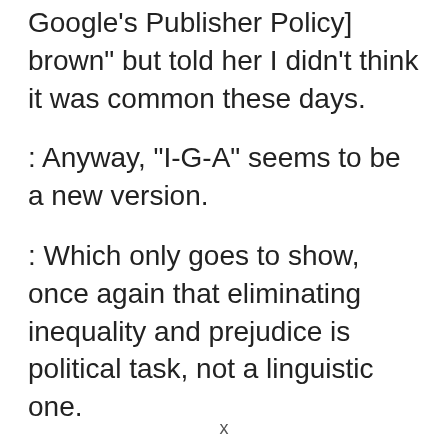[ Google's Publisher Policy] brown" but told her I didn't think it was common these days.
: Anyway, "I-G-A" seems to be a new version.
: Which only goes to show, once again that eliminating inequality and prejudice is political task, not a linguistic one.
: WC
I'd fully agree that language is a symptom far more than a cause of prejudice, though
x